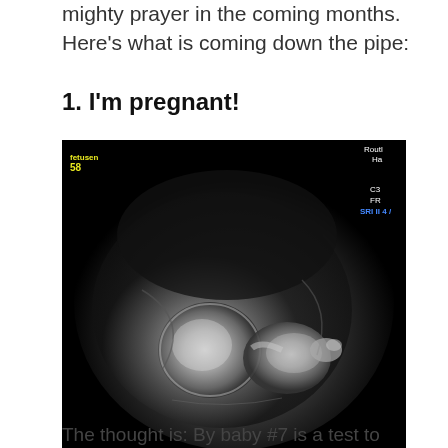mighty prayer in the coming months. Here’s what is coming down the pipe:
1. I’m pregnant!
[Figure (photo): Ultrasound image showing a fetus in grayscale. Medical data overlaid in corners: top-left shows 'fetusen 58', top-right shows 'Routl Ha', right side shows 'C3 FR SRI II 4 /'. Dark background with the fetus visible in center-lower portion of the image.]
The thought is: By baby #7 is a test to